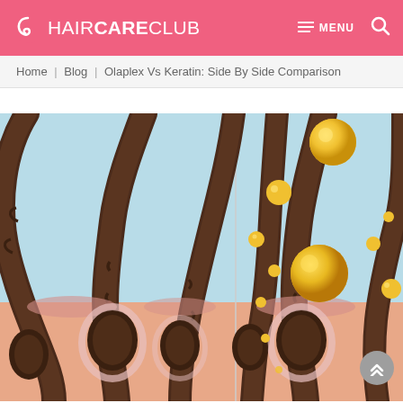HAIRCARECLUB — MENU (search icon)
Home | Blog | Olaplex Vs Keratin: Side By Side Comparison
[Figure (illustration): Scientific diagram of hair follicles in cross-section showing hair strands emerging from skin, with golden oil/keratin droplets surrounding the follicles in the right panel. Two panels visible: left shows clean hair follicles on light blue background; right shows same follicles with yellow spherical droplets coating the strands, suggesting keratin or oil treatment application.]